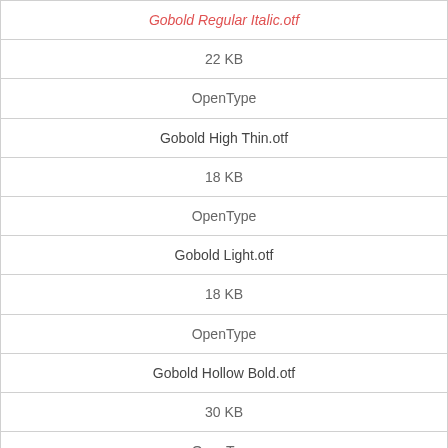| Gobold Regular Italic.otf |
| 22 KB |
| OpenType |
| Gobold High Thin.otf |
| 18 KB |
| OpenType |
| Gobold Light.otf |
| 18 KB |
| OpenType |
| Gobold Hollow Bold.otf |
| 30 KB |
| OpenType |
| Gobold Light Italic.otf |